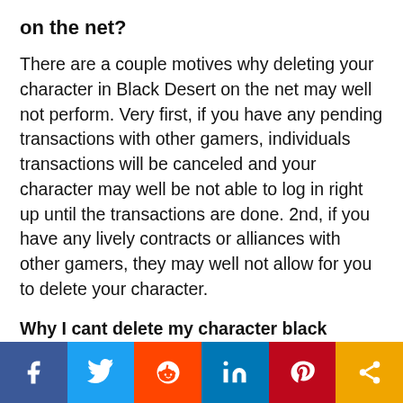on the net?
There are a couple motives why deleting your character in Black Desert on the net may well not perform. Very first, if you have any pending transactions with other gamers, individuals transactions will be canceled and your character may well be not able to log in right up until the transactions are done. 2nd, if you have any lively contracts or alliances with other gamers, they may well not allow for you to delete your character.
Why I cant delete my character black desert?
[Figure (other): Social sharing bar with icons for Facebook, Twitter, Reddit, LinkedIn, Pinterest, and Share]